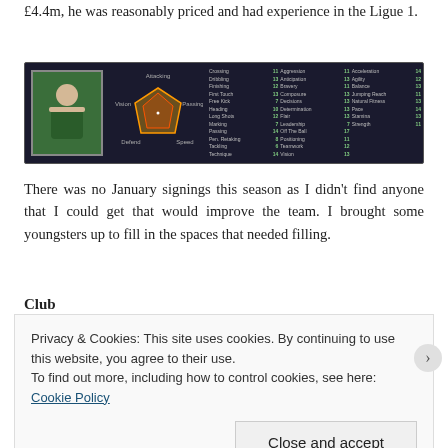£4.4m, he was reasonably priced and had experience in the Ligue 1.
[Figure (screenshot): Football Manager player profile screenshot showing a player in a green jersey with radar chart and statistics panel on dark background]
There was no January signings this season as I didn't find anyone that I could get that would improve the team. I brought some youngsters up to fill in the spaces that needed filling.
Club
Privacy & Cookies: This site uses cookies. By continuing to use this website, you agree to their use.
To find out more, including how to control cookies, see here: Cookie Policy
Close and accept